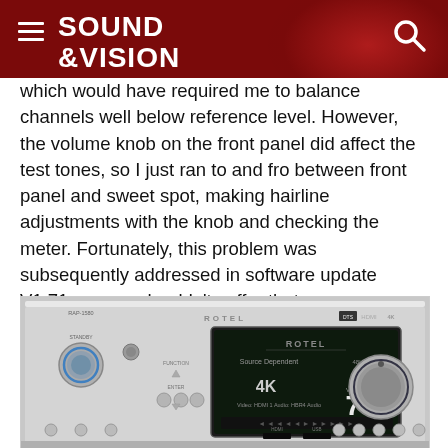SOUND &VISION
which would have required me to balance channels well below reference level. However, the volume knob on the front panel did affect the test tones, so I just ran to and fro between front panel and sweet spot, making hairline adjustments with the knob and checking the meter. Fortunately, this problem was subsequently addressed in software update V1.71, so you shouldn't suffer that inconvenience.)
[Figure (photo): Photo of a Rotel RAP-1580 AV receiver front panel, showing its display screen with DTS:X logo, 4K label, Volume 77, and Source Dependent mode. The receiver has a silver/aluminum finish with various front panel controls.]